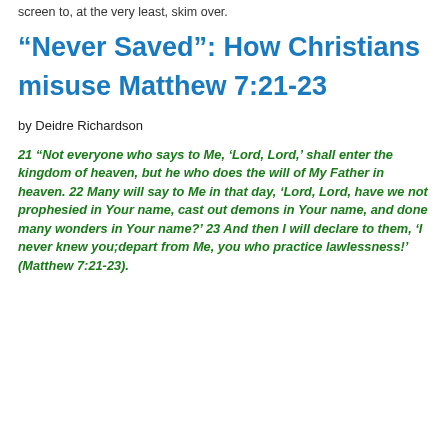screen to, at the very least, skim over.
“Never Saved”: How Christians misuse Matthew 7:21-23
by Deidre Richardson
21 “Not everyone who says to Me, ‘Lord, Lord,’ shall enter the kingdom of heaven, but he who does the will of My Father in heaven. 22 Many will say to Me in that day, ‘Lord, Lord, have we not prophesied in Your name, cast out demons in Your name, and done many wonders in Your name?’ 23 And then I will declare to them, ‘I never knew you;depart from Me, you who practice lawlessness!’ (Matthew 7:21-23).